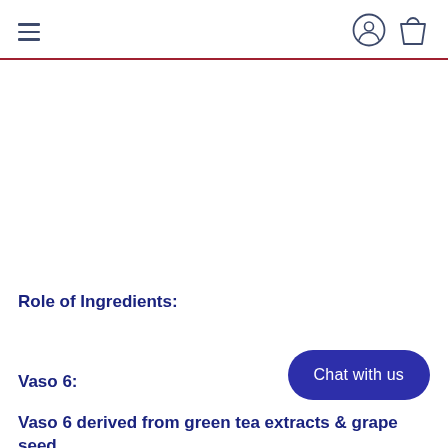≡  [user icon] [bag icon]
Role of Ingredients:
Vaso 6:
Chat with us
Vaso 6 derived from green tea extracts & grape seed